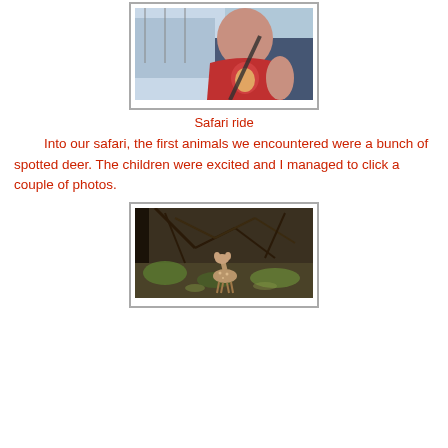[Figure (photo): Child in red t-shirt seated in safari vehicle with seatbelt, viewed from inside the vehicle]
Safari ride
Into our safari, the first animals we encountered were a bunch of spotted deer. The children were excited and I managed to click a couple of photos.
[Figure (photo): A spotted deer (fawn) standing in forest undergrowth with tangled branches and green foliage in background]